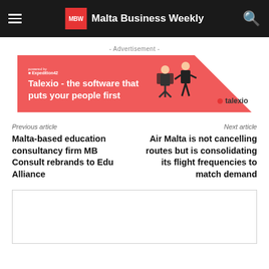MBW Malta Business Weekly
- Advertisement -
[Figure (infographic): Talexio advertisement banner with red background. Text reads: 'Talexio - the software that puts your people first'. Shows Expedition42 logo on left, illustration of people working on right, and Talexio logo on far right.]
Previous article
Next article
Malta-based education consultancy firm MB Consult rebrands to Edu Alliance
Air Malta is not cancelling routes but is consolidating its flight frequencies to match demand